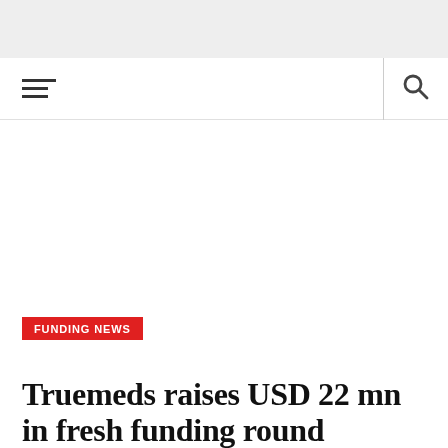[Figure (other): Navigation bar with hamburger menu icon on the left and search icon on the right, separated by a vertical divider line.]
FUNDING NEWS
Truemeds raises USD 22 mn in fresh funding round